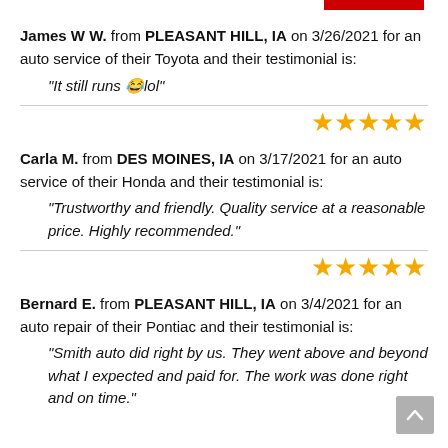James W W. from PLEASANT HILL, IA on 3/26/2021 for an auto service of their Toyota and their testimonial is:
“It still runs 😂lol”
★★★★★
Carla M. from DES MOINES, IA on 3/17/2021 for an auto service of their Honda and their testimonial is:
“Trustworthy and friendly. Quality service at a reasonable price. Highly recommended.”
★★★★★
Bernard E. from PLEASANT HILL, IA on 3/4/2021 for an auto repair of their Pontiac and their testimonial is:
“Smith auto did right by us. They went above and beyond what I expected and paid for. The work was done right and on time.”